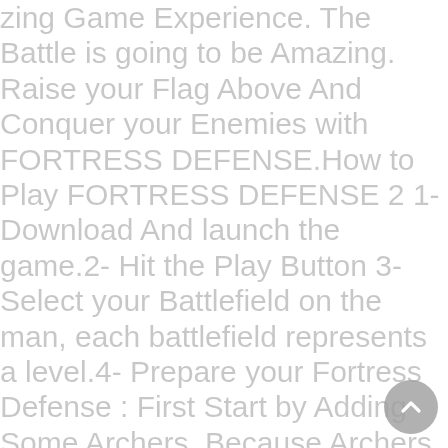zing Game Experience. The Battle is going to be Amazing. Raise your Flag Above And Conquer your Enemies with FORTRESS DEFENSE.How to Play FORTRESS DEFENSE 2 1- Download And launch the game.2- Hit the Play Button 3- Select your Battlefield on the man, each battlefield represents a level.4- Prepare your Fortress Defense : First Start by Adding Some Archers. Because Archers are going to be your main soldiers in the Battlefield. As you meet more Enemies your Fortress is going to need more Defense, that is why you can upgrade your Archers. To more Powerful Archers and you can also upgrade their Weapons with either poisonous Arrows or Sharper Arrows5- Use The Forces of Nature : With more Enemies that wants to destroy your Fortress. It is sometimes necessary to use The Awesome And powerful Forces of Nature. Either by Hitting the enemies with Lightning, Freezing Them or even throwing Rocks at them. Because No matter what, You need to Defend Your Castle using everything you can.6- Buy more Weapons and Defenses : Of course, Your Fortress's Defense will Eventually run out, and you will